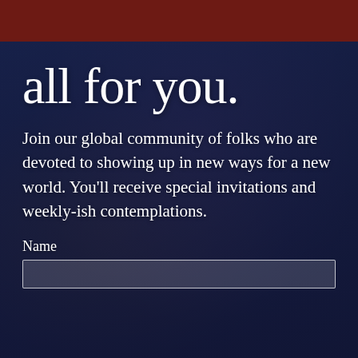[Figure (photo): Background photo of a person wearing an ornate patterned jacket/robe, overlaid with dark blue semi-transparent overlay. Dark red/maroon bar at the top.]
all for you.
Join our global community of folks who are devoted to showing up in new ways for a new world. You'll receive special invitations and weekly-ish contemplations.
Name